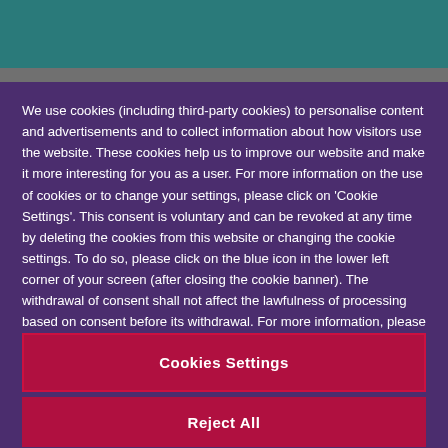We use cookies (including third-party cookies) to personalise content and advertisements and to collect information about how visitors use the website. These cookies help us to improve our website and make it more interesting for you as a user. For more information on the use of cookies or to change your settings, please click on 'Cookie Settings'. This consent is voluntary and can be revoked at any time by deleting the cookies from this website or changing the cookie settings. To do so, please click on the blue icon in the lower left corner of your screen (after closing the cookie banner). The withdrawal of consent shall not affect the lawfulness of processing based on consent before its withdrawal. For more information, please see our privacy policy.
Cookies Settings
Reject All